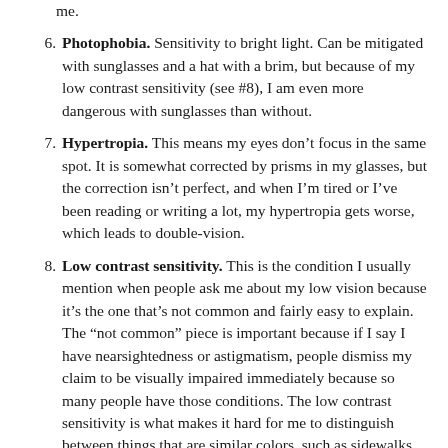me.
6. Photophobia. Sensitivity to bright light. Can be mitigated with sunglasses and a hat with a brim, but because of my low contrast sensitivity (see #8), I am even more dangerous with sunglasses than without.
7. Hypertropia. This means my eyes don’t focus in the same spot. It is somewhat corrected by prisms in my glasses, but the correction isn’t perfect, and when I’m tired or I’ve been reading or writing a lot, my hypertropia gets worse, which leads to double-vision.
8. Low contrast sensitivity. This is the condition I usually mention when people ask me about my low vision because it’s the one that’s not common and fairly easy to explain. The “not common” piece is important because if I say I have nearsightedness or astigmatism, people dismiss my claim to be visually impaired immediately because so many people have those conditions. The low contrast sensitivity is what makes it hard for me to distinguish between things that are similar colors, such as sidewalks, streets, and people in dark